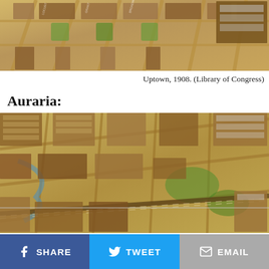[Figure (illustration): Old bird's-eye view city map illustration of Uptown area, 1908, showing grid streets with buildings, trees, and urban blocks in sepia/green tones.]
Uptown, 1908. (Library of Congress)
Auraria:
[Figure (illustration): Old bird's-eye view city map illustration of the Auraria neighborhood, showing dense urban blocks, streets, buildings, parks, and rail lines in sepia/green tones.]
SHARE   TWEET   EMAIL